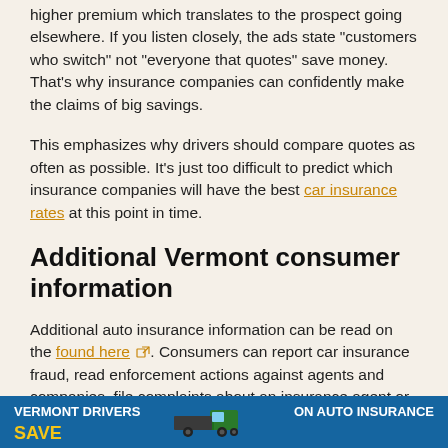higher premium which translates to the prospect going elsewhere. If you listen closely, the ads state “customers who switch” not “everyone that quotes” save money. That’s why insurance companies can confidently make the claims of big savings.
This emphasizes why drivers should compare quotes as often as possible. It’s just too difficult to predict which insurance companies will have the best car insurance rates at this point in time.
Additional Vermont consumer information
Additional auto insurance information can be read on the found here. Consumers can report car insurance fraud, read enforcement actions against agents and companies, file complaints about an insurance agent or broker, and read state legal mandates and laws.
[Figure (infographic): Blue banner advertisement reading VERMONT DRIVERS ... ON AUTO INSURANCE with a truck image in the center]